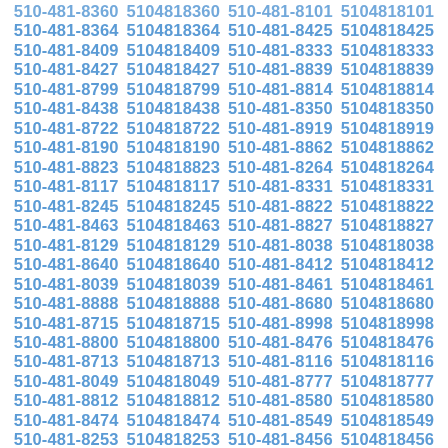510-481-8360 5104818360 510-481-8101 5104818101 510-481-8364 5104818364 510-481-8425 5104818425 510-481-8409 5104818409 510-481-8333 5104818333 510-481-8427 5104818427 510-481-8839 5104818839 510-481-8799 5104818799 510-481-8814 5104818814 510-481-8438 5104818438 510-481-8350 5104818350 510-481-8722 5104818722 510-481-8919 5104818919 510-481-8190 5104818190 510-481-8862 5104818862 510-481-8823 5104818823 510-481-8264 5104818264 510-481-8117 5104818117 510-481-8331 5104818331 510-481-8245 5104818245 510-481-8822 5104818822 510-481-8463 5104818463 510-481-8827 5104818827 510-481-8129 5104818129 510-481-8038 5104818038 510-481-8640 5104818640 510-481-8412 5104818412 510-481-8039 5104818039 510-481-8461 5104818461 510-481-8888 5104818888 510-481-8680 5104818680 510-481-8715 5104818715 510-481-8998 5104818998 510-481-8800 5104818800 510-481-8476 5104818476 510-481-8713 5104818713 510-481-8116 5104818116 510-481-8049 5104818049 510-481-8777 5104818777 510-481-8812 5104818812 510-481-8580 5104818580 510-481-8474 5104818474 510-481-8549 5104818549 510-481-8253 5104818253 510-481-8456 5104818456 510-481-8094 5104818094 510-481-8308 5104818308 510-481-8869 5104818869 510-481-8520 5104818520 510-481-8659 5104818659 510-481-8265 5104818265